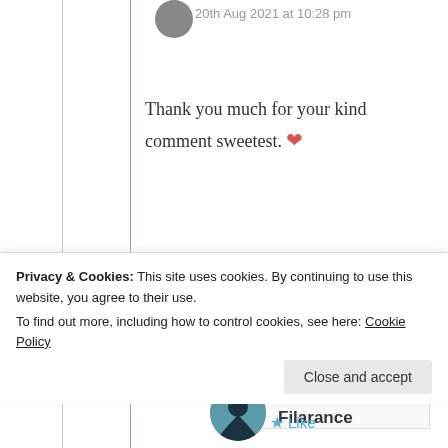20th Aug 2021 at 10:28 pm
Thank you much for your kind comment sweetest. ❤
★ Liked by 1 person
Log in to Reply
Filarance
Privacy & Cookies: This site uses cookies. By continuing to use this website, you agree to their use.
To find out more, including how to control cookies, see here: Cookie Policy
Close and accept
Like